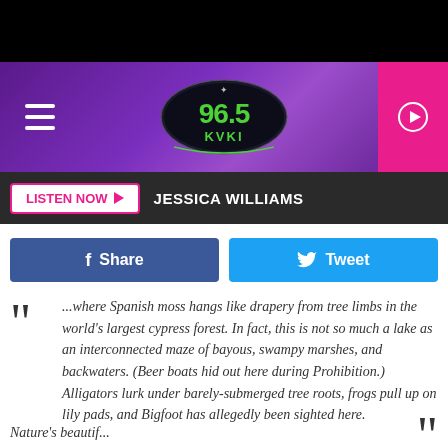[Figure (logo): 96.5 KVKI radio station logo on purple gradient header with hamburger menu and pink play button]
LISTEN NOW  JESSICA WILLIAMS
[Figure (infographic): Facebook Share button and Twitter Tweet button]
...where Spanish moss hangs like drapery from tree limbs in the world's largest cypress forest. In fact, this is not so much a lake as an interconnected maze of bayous, swampy marshes, and backwaters. (Beer boats hid out here during Prohibition.) Alligators lurk under barely-submerged tree roots, frogs pull up on lily pads, and Bigfoot has allegedly been sighted here.
Nature's beautif...